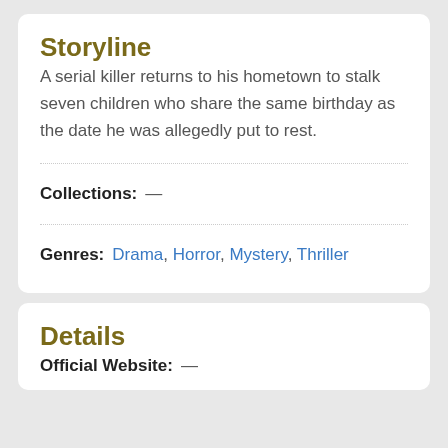Storyline
A serial killer returns to his hometown to stalk seven children who share the same birthday as the date he was allegedly put to rest.
Collections:  —
Genres:  Drama, Horror, Mystery, Thriller
Details
Official Website:  —